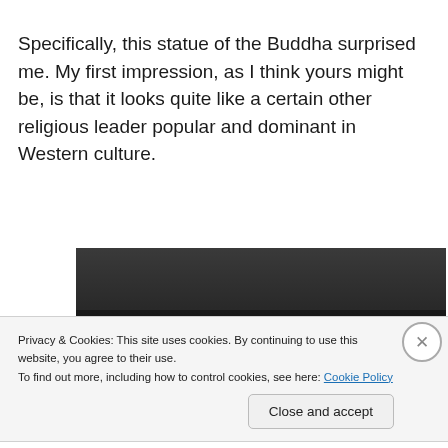Specifically, this statue of the Buddha surprised me. My first impression, as I think yours might be, is that it looks quite like a certain other religious leader popular and dominant in Western culture.
[Figure (photo): Partial photograph of a dark background with white text caption reading 'The Bodhisattva Maitreya, 200–350' and a partially visible second line 'Pakistan; ancient region of Gan...' (truncated)]
Privacy & Cookies: This site uses cookies. By continuing to use this website, you agree to their use.
To find out more, including how to control cookies, see here: Cookie Policy
Close and accept